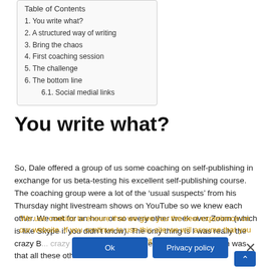Table of Contents
1. You write what?
2. A structured way of writing
3. Bring the chaos
4. First coaching session
5. The challenge
6. The bottom line
6.1. Social medial links
You write what?
So, Dale offered a group of us some coaching on self-publishing in exchange for us beta-testing his excellent self-publishing course. The coaching group were a lot of the ‘usual suspects’ from his Thursday night livestream shows on YouTube so we knew each other. We met for an hour or so every other week over Zoom (which is like Skype if you didn’t know). The only thing is I was really the crazy B[...] accent? Well, maybe. But the main reason was that all these other
We use cookies to ensure that we give you the best experience on our website. If you continue to use this site we will assume that you are happy with it.